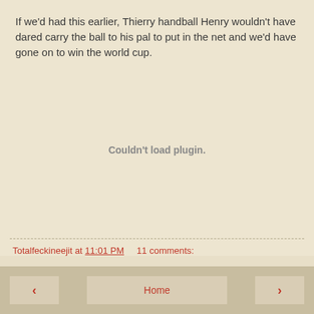If we'd had this earlier, Thierry handball Henry wouldn't have dared carry the ball to his pal to put in the net and we'd have gone on to win the world cup.
[Figure (other): Couldn't load plugin.]
Totalfeckineejit at 11:01 PM    11 comments:
< Home >